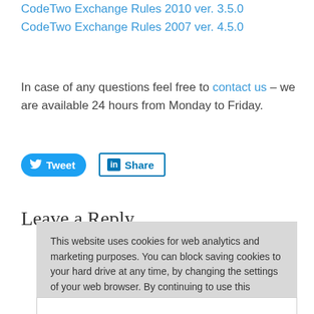CodeTwo Exchange Rules 2010 ver. 3.5.0
CodeTwo Exchange Rules 2007 ver. 4.5.0
In case of any questions feel free to contact us – we are available 24 hours from Monday to Friday.
[Figure (other): Social share buttons: Tweet (Twitter) and Share (LinkedIn)]
Leave a Reply
This website uses cookies for web analytics and marketing purposes. You can block saving cookies to your hard drive at any time, by changing the settings of your web browser. By continuing to use this website without disabling cookies in your web browser you agree to saving cookies to your hard drive. Learn more in our Privacy Policy.